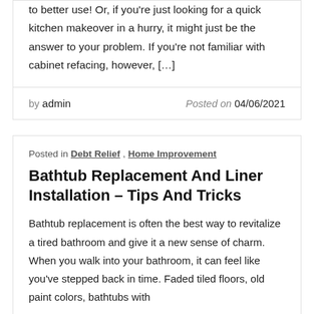to better use! Or, if you're just looking for a quick kitchen makeover in a hurry, it might just be the answer to your problem. If you're not familiar with cabinet refacing, however, [...]
by admin   Posted on 04/06/2021
Posted in Debt Relief, Home Improvement
Bathtub Replacement And Liner Installation – Tips And Tricks
Bathtub replacement is often the best way to revitalize a tired bathroom and give it a new sense of charm. When you walk into your bathroom, it can feel like you've stepped back in time. Faded tiled floors, old paint colors, bathtubs with...